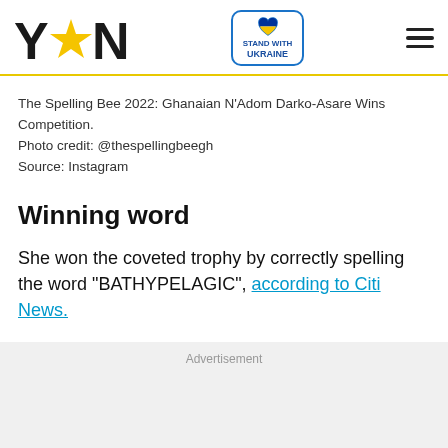YEN — Stand With Ukraine
The Spelling Bee 2022: Ghanaian N'Adom Darko-Asare Wins Competition.
Photo credit: @thespellingbeegh
Source: Instagram
Winning word
She won the coveted trophy by correctly spelling the word "BATHYPELAGIC", according to Citi News.